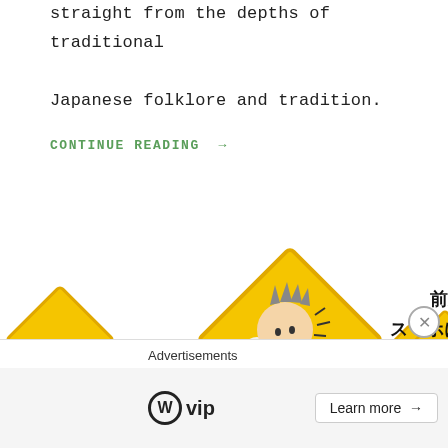straight from the depths of traditional Japanese folklore and tradition.
CONTINUE READING →
[Figure (illustration): Colorful manga-style cartoon illustration showing a person in a red-and-white striped shirt falling or stumbling while distracted by a phone, surrounded by yellow warning diamond signs and crowds of people. Japanese text reads: 前見いや!!! スマホに夢中 大迷惑]
Advertisements
[Figure (logo): WordPress VIP logo with WordPress circle W icon followed by 'vip' text]
Learn more →